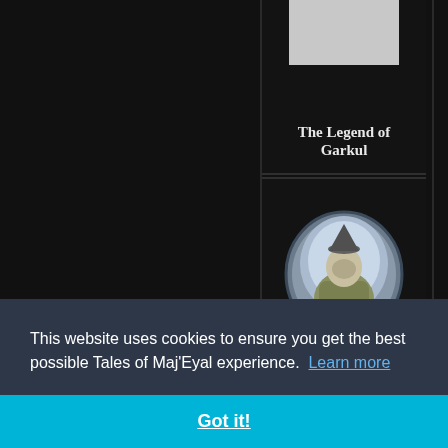[Figure (screenshot): Dark-themed game website showing a list of game entries. Top card shows 'The Legend of Garkul' with a gray placeholder image. Middle card shows 'Earth Master' with a wizard illustration in a circular frame. Bottom card shows a partial green creature image.]
The Legend of Garkul
Earth Master
This website uses cookies to ensure you get the best possible Tales of Maj'Eyal experience. Learn more
Got it!